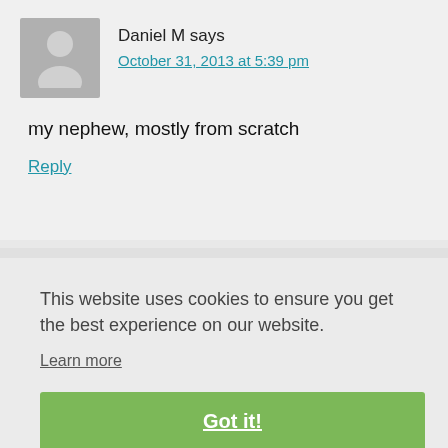[Figure (illustration): Grey avatar placeholder icon showing a silhouette of a person]
Daniel M says
October 31, 2013 at 5:39 pm
my nephew, mostly from scratch
Reply
This website uses cookies to ensure you get the best experience on our website.
Learn more
Got it!